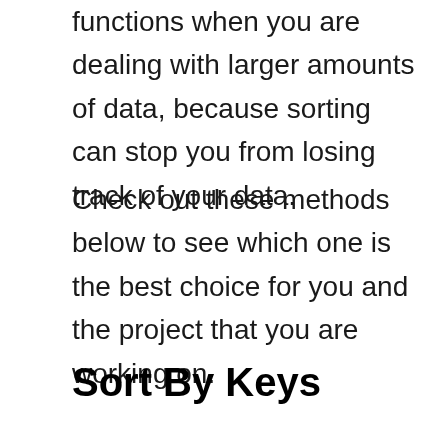functions when you are dealing with larger amounts of data, because sorting can stop you from losing track of your data.
Check out these methods below to see which one is the best choice for you and the project that you are working on.
Sort By Keys